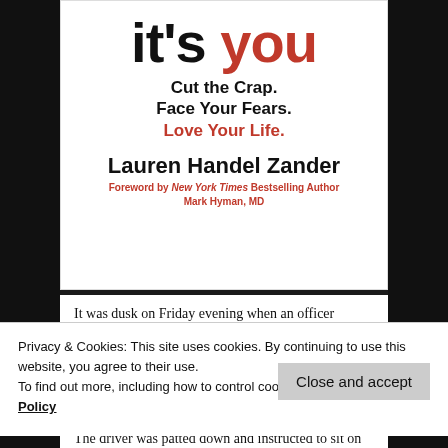[Figure (illustration): Book cover for 'it's you' by Lauren Handel Zander. Large bold text reading 'it's you' with 'it's' in black and 'you' in red. Subtitle: 'Cut the Crap. Face Your Fears. Love Your Life.' with 'Love Your Life.' in red. Author name: Lauren Handel Zander. Foreword by New York Times Bestselling Author Mark Hyman, MD.]
It was dusk on Friday evening when an officer requested a
Privacy & Cookies: This site uses cookies. By continuing to use this website, you agree to their use.
To find out more, including how to control cookies, see here: Cookie Policy
The driver was patted down and instructed to sit on the